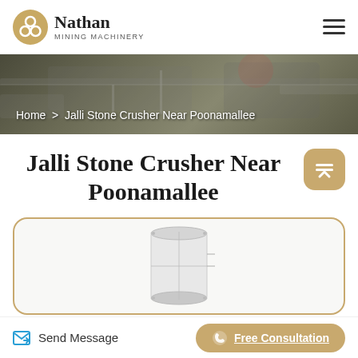Nathan Mining Machinery
[Figure (photo): Dark hero banner showing mining machinery equipment in background, with breadcrumb navigation text overlaid]
Home > Jalli Stone Crusher Near Poonamallee
Jalli Stone Crusher Near Poonamallee
[Figure (photo): White cylindrical industrial stone crusher machine shown inside a rounded gold-bordered card]
Send Message
Free Consultation